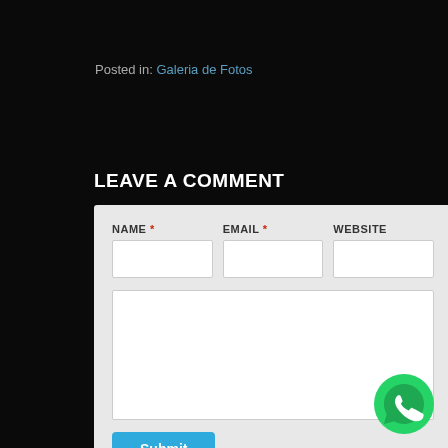Posted in: Galeria de Fotos
LEAVE A COMMENT
[Figure (screenshot): Comment form with NAME, EMAIL, WEBSITE fields, a textarea, and a Submit button on a light grey panel background.]
[Figure (logo): WhatsApp circular green icon in the bottom right corner.]